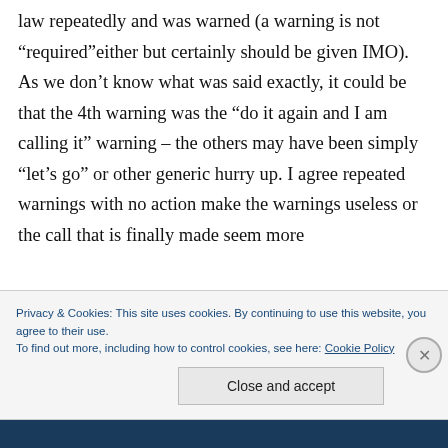law repeatedly and was warned (a warning is not “required”either but certainly should be given IMO). As we don’t know what was said exactly, it could be that the 4th warning was the “do it again and I am calling it” warning – the others may have been simply “let’s go” or other generic hurry up. I agree repeated warnings with no action make the warnings useless or the call that is finally made seem more
Privacy & Cookies: This site uses cookies. By continuing to use this website, you agree to their use.
To find out more, including how to control cookies, see here: Cookie Policy